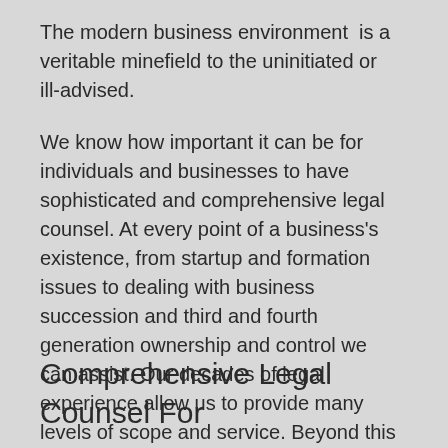The modern business environment is a veritable minefield to the uninitiated or ill-advised.
We know how important it can be for individuals and businesses to have sophisticated and comprehensive legal counsel. At every point of a business's existence, from startup and formation issues to dealing with business succession and third and fourth generation ownership and control we can assist. Our decades of legal experience allow us to provide many levels of scope and service. Beyond this legal experience, two of our attorneys are CPAs and one teaches tax law.
Comprehensive Legal Counsel For